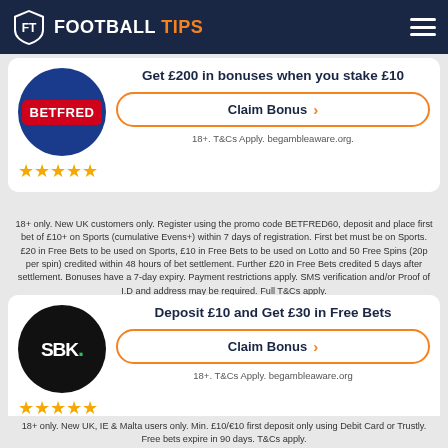FOOTBALL TIPS
Get £200 in bonuses when you stake £10
Claim Bonus
18+. T&Cs Apply. begambleaware.org.
18+ only. New UK customers only. Register using the promo code BETFRED60, deposit and place first bet of £10+ on Sports (cumulative Evens+) within 7 days of registration. First bet must be on Sports. £20 in Free Bets to be used on Sports, £10 in Free Bets to be used on Lotto and 50 Free Spins (20p per spin) credited within 48 hours of bet settlement. Further £20 in Free Bets credited 5 days after settlement. Bonuses have a 7-day expiry. Payment restrictions apply. SMS verification and/or Proof of I.D and address may be required. Full T&Cs apply.
Deposit £10 and Get £30 in Free Bets
Claim Bonus
18+. T&Cs Apply. begambleaware.org
18+ only. New UK, IE & Malta users only. Min. £10/€10 first deposit only using Debit Card or Trustly. Free bets expire in 90 days. T&Cs apply.